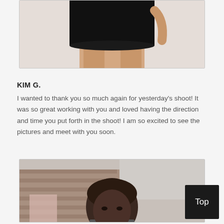[Figure (photo): Partial photo of a person wearing a black dress/skirt, showing the torso and legs from mid-chest down, against a light beige/cream background.]
KIM G.
I wanted to thank you so much again for yesterday's shoot! It was so great working with you and loved having the direction and time you put forth in the shoot! I am so excited to see the pictures and meet with you soon.
[Figure (photo): Partial photo of a young Black man with short hair, photographed outdoors with an urban/brick background visible behind him, cropped to show from shoulders up.]